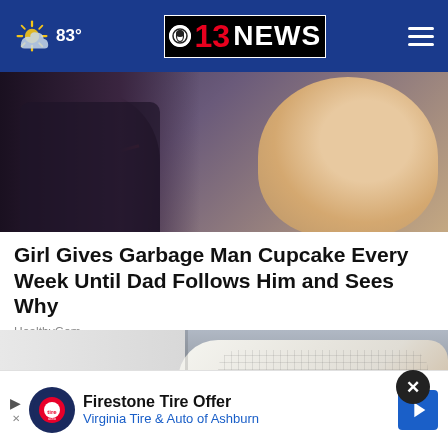83° | CBS 13 NEWS
[Figure (photo): Photo of a child smiling with a dark-clothed figure in foreground, red headphone cord visible]
Girl Gives Garbage Man Cupcake Every Week Until Dad Follows Him and Sees Why
HealthyGem
[Figure (photo): Close-up photo of white slip-on shoe with brown stripe detailing and white rolled-up pants leg]
[Figure (other): Advertisement: Firestone Tire Offer – Virginia Tire & Auto of Ashburn]